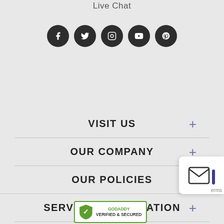Live Chat
[Figure (illustration): Five circular dark social media icons in a row: Facebook, Twitter, Instagram, YouTube, Pinterest]
VISIT US
OUR COMPANY
OUR POLICIES
SERVICES & EDUCATION
[Figure (logo): GoDaddy Verified & Secured badge with green shield icon and registered trademark symbol]
[Figure (illustration): Live chat widget showing envelope icon and blue bar, with 'erms' text]